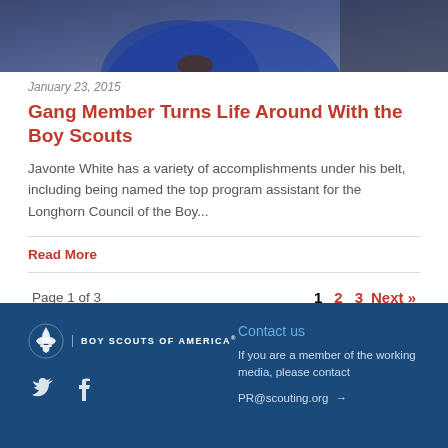[Figure (photo): Partial photo of a person wearing a blue shirt at the top of the page]
January 23, 2015
Gang Member Turns Life Around With the Boy Scouts
Javonte White has a variety of accomplishments under his belt, including being named the top program assistant for the Longhorn Council of the Boy...
Read More
Page 1 of 3
1  2  3  Next »
BOY SCOUTS OF AMERICA® | Contact us | If you are a member of the working media, please contact | PR@scouting.org →